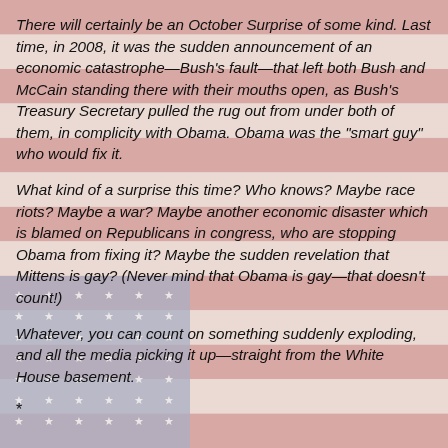[Figure (illustration): American flag background image with red and white stripes and a blue canton with white stars, faded/washed out appearance]
There will certainly be an October Surprise of some kind. Last time, in 2008, it was the sudden announcement of an economic catastrophe—Bush's fault—that left both Bush and McCain standing there with their mouths open, as Bush's Treasury Secretary pulled the rug out from under both of them, in complicity with Obama. Obama was the "smart guy" who would fix it.
What kind of a surprise this time? Who knows? Maybe race riots? Maybe a war? Maybe another economic disaster which is blamed on Republicans in congress, who are stopping Obama from fixing it? Maybe the sudden revelation that Mittens is gay? (Never mind that Obama is gay—that doesn't count!)
Whatever, you can count on something suddenly exploding, and all the media picking it up—straight from the White House basement.
*